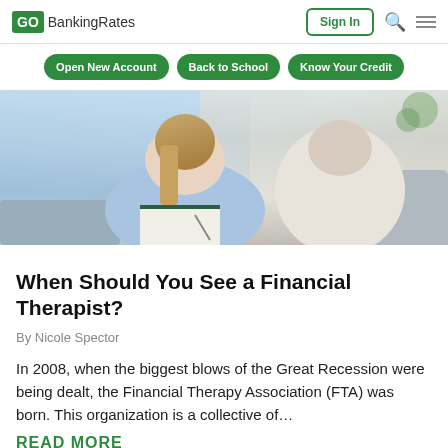GOBankingRates | Sign In
[Figure (other): Navigation bar with three green pill-shaped buttons: Open New Account, Back to School, Know Your Credit]
[Figure (photo): A female financial therapist in a light blue top writing notes while meeting with a client whose back is facing the camera, seated on a sofa in a bright modern office setting.]
When Should You See a Financial Therapist?
By Nicole Spector
In 2008, when the biggest blows of the Great Recession were being dealt, the Financial Therapy Association (FTA) was born. This organization is a collective of...
READ MORE